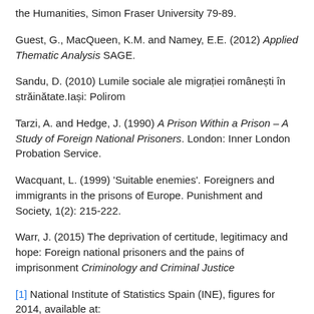the Humanities, Simon Fraser University 79-89.
Guest, G., MacQueen, K.M. and Namey, E.E. (2012) Applied Thematic Analysis SAGE.
Sandu, D. (2010) Lumile sociale ale migrației românești în străinătate.Iași: Polirom
Tarzi, A. and Hedge, J. (1990) A Prison Within a Prison – A Study of Foreign National Prisoners. London: Inner London Probation Service.
Wacquant, L. (1999) 'Suitable enemies'. Foreigners and immigrants in the prisons of Europe. Punishment and Society, 1(2): 215-222.
Warr, J. (2015) The deprivation of certitude, legitimacy and hope: Foreign national prisoners and the pains of imprisonment Criminology and Criminal Justice
[1] National Institute of Statistics Spain (INE), figures for 2014, available at: http://www.ine.es/en/inebmenu/mnu_cifraspob_en.htm